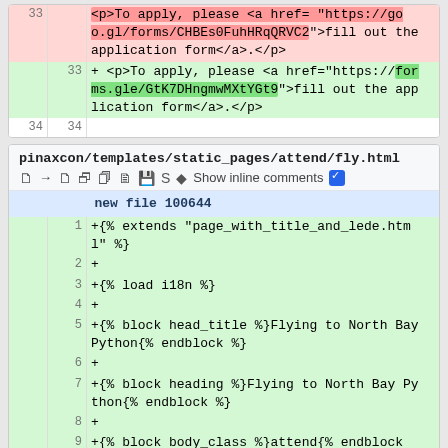[Figure (screenshot): Top diff panel showing deletion of line 33 with old URL goo.gl/forms/CHBEs0FuhHRqQRVC2 and addition of line 33 with new URL forms.gle/GtK7DHngmwMXtYGt9, and neutral line 34.]
[Figure (screenshot): Bottom diff panel for pinaxcon/templates/static_pages/attend/fly.html showing new file 100644 and lines 1-11 of added template code.]